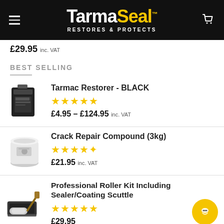[Figure (logo): TarmaSeal logo with 'Restores & Protects' tagline on black header background]
£29.95 inc. VAT
BEST SELLING
Tarmac Restorer - BLACK — ★★★★★ — £4.95 – £124.95 inc. VAT
Crack Repair Compound (3kg) — ★★★★½ — £21.95 inc. VAT
Professional Roller Kit Including Sealer/Coating Scuttle — ★★★★★ — £29.95 inc. VAT